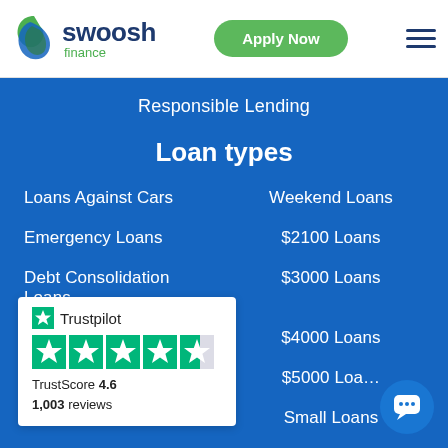[Figure (logo): Swoosh Finance logo with green and blue swoosh icon, company name in dark blue, 'finance' in green, Apply Now green pill button, hamburger menu icon]
Responsible Lending
Loan types
Loans Against Cars
Weekend Loans
Emergency Loans
$2100 Loans
Debt Consolidation Loans
$3000 Loans
$4000 Loans
$5000 Loans
Small Loans
[Figure (other): Trustpilot widget card showing 4.6 TrustScore with 4.5 green stars and 1,003 reviews]
[Figure (other): Blue circular chat/support button in bottom right corner]